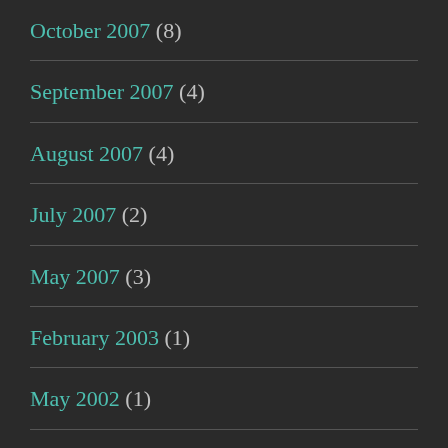October 2007 (8)
September 2007 (4)
August 2007 (4)
July 2007 (2)
May 2007 (3)
February 2003 (1)
May 2002 (1)
July 2001 (1)